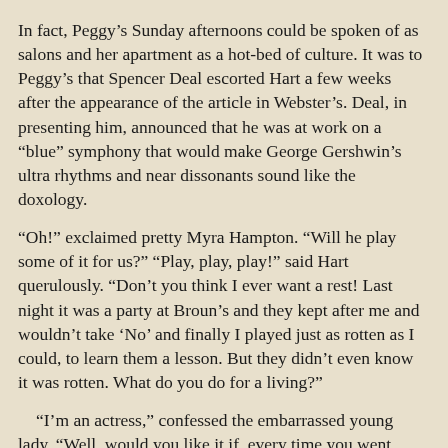In fact, Peggy’s Sunday afternoons could be spoken of as salons and her apartment as a hot-bed of culture. It was to Peggy’s that Spencer Deal escorted Hart a few weeks after the appearance of the article in Webster’s. Deal, in presenting him, announced that he was at work on a “blue” symphony that would make George Gershwin’s ultra rhythms and near dissonants sound like the doxology.
“Oh!” exclaimed pretty Myra Hampton. “Will he play some of it for us?” “Play, play, play!” said Hart querulously. “Don’t you think I ever want a rest! Last night it was a party at Broun’s and they kept after me and wouldn’t take ‘No’ and finally I played just as rotten as I could, to learn them a lesson. But they didn’t even know it was rotten. What do you do for a living?”
“I’m an actress,” confessed the embarrassed young lady. “Well, would you like it if, every time you went anywhere socially, people asked you to act?”
“Yes,” she answered, but he had moved away. He seemed to be seeking seclusion: sat down as far as possible from